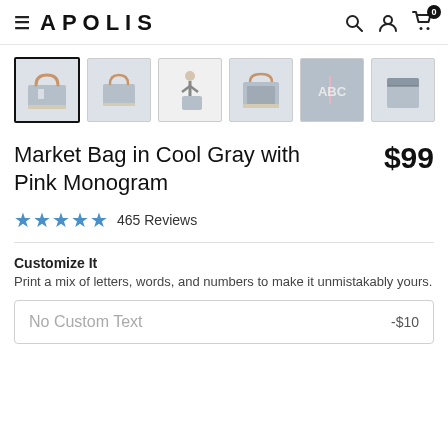APOLIS
[Figure (photo): Six product thumbnail images of a gray market bag with brown leather handles and pink monogram, shown from various angles including front, top, being carried, interior, monogram detail (ABC), and folded.]
Market Bag in Cool Gray with Pink Monogram
$99
★★★★★ 465 Reviews
Customize It
Print a mix of letters, words, and numbers to make it unmistakably yours.
No Custom Text   -$10